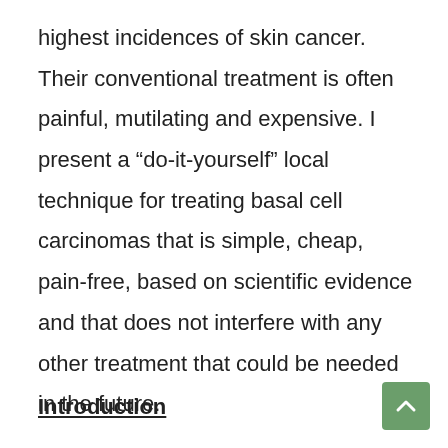highest incidences of skin cancer. Their conventional treatment is often painful, mutilating and expensive. I present a “do-it-yourself” local technique for treating basal cell carcinomas that is simple, cheap, pain-free, based on scientific evidence and that does not interfere with any other treatment that could be needed in the future.
Introduction